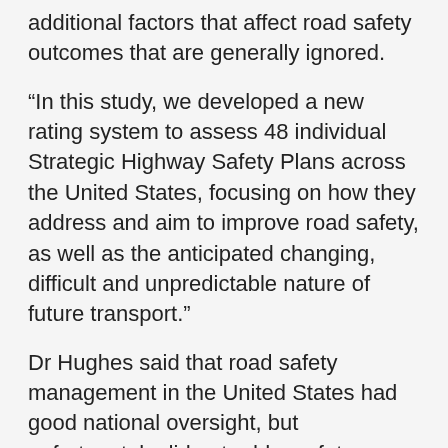additional factors that affect road safety outcomes that are generally ignored.
“In this study, we developed a new rating system to assess 48 individual Strategic Highway Safety Plans across the United States, focusing on how they address and aim to improve road safety, as well as the anticipated changing, difficult and unpredictable nature of future transport.”
Dr Hughes said that road safety management in the United States had good national oversight, but unfortunately did not address future challenges.
“We recommend that it is important for US road safety plans to take into account all influences and factors that will change in the future and affect road safety outcomes. It is also important to develop and apply techniques to manage future influences to ensure Strategic Highway Safety Plans are resilient to future situations that may arise,” Dr Hughes said.